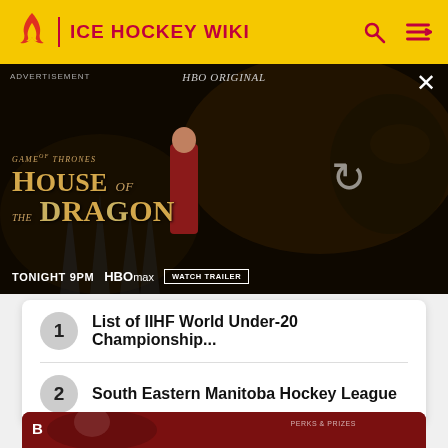ICE HOCKEY WIKI
[Figure (photo): HBO Original advertisement for House of the Dragon (Game of Thrones), showing Tonight 9PM on HBO Max with Watch Trailer button, dark fantasy background with dragon imagery and a figure in red dress]
1  List of IIHF World Under-20 Championship...
2  South Eastern Manitoba Hockey League
[Figure (photo): Partial bottom advertisement with dark red background showing a person in sports gear, with text 'PERKS & PRIZES' visible]